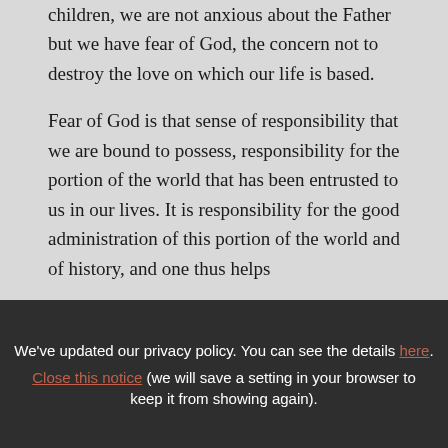anguish, it is something quite different. As children, we are not anxious about the Father but we have fear of God, the concern not to destroy the love on which our life is based.
Fear of God is that sense of responsibility that we are bound to possess, responsibility for the portion of the world that has been entrusted to us in our lives. It is responsibility for the good administration of this portion of the world and of history, and one thus helps
We've updated our privacy policy. You can see the details here. Close this notice (we will save a setting in your browser to keep it from showing again).